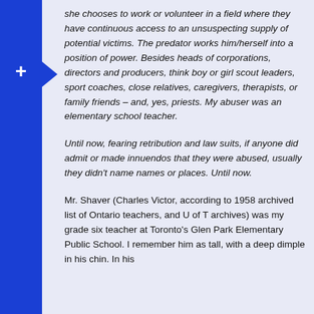she chooses to work or volunteer in a field where they have continuous access to an unsuspecting supply of potential victims. The predator works him/herself into a position of power. Besides heads of corporations, directors and producers, think boy or girl scout leaders, sport coaches, close relatives, caregivers, therapists, or family friends – and, yes, priests. My abuser was an elementary school teacher.
Until now, fearing retribution and law suits, if anyone did admit or made innuendos that they were abused, usually they didn't name names or places. Until now.
Mr. Shaver (Charles Victor, according to 1958 archived list of Ontario teachers, and U of T archives) was my grade six teacher at Toronto's Glen Park Elementary Public School. I remember him as tall, with a deep dimple in his chin. In his